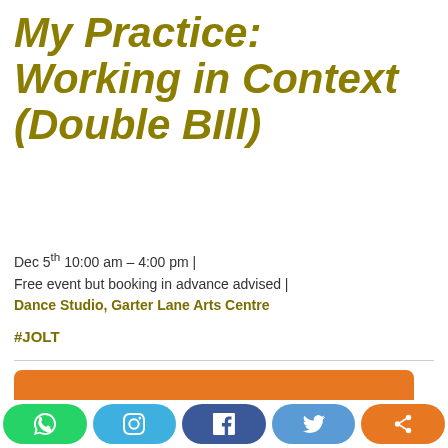My Practice: Working in Context (Double BIll)
Dec 5th 10:00 am – 4:00 pm |
Free event but booking in advance advised |
Dance Studio, Garter Lane Arts Centre
#JOLT
The following Event is no longer available.
VIEW CURRENT EVENTS